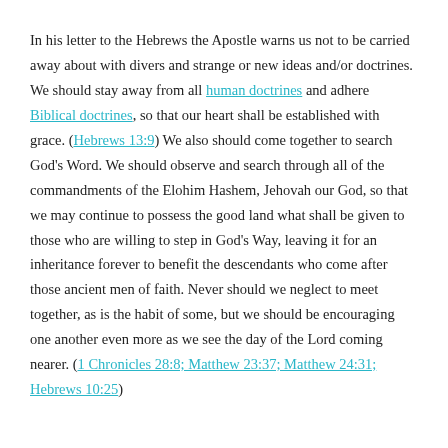In his letter to the Hebrews the Apostle warns us not to be carried away about with divers and strange or new ideas and/or doctrines. We should stay away from all human doctrines and adhere Biblical doctrines, so that our heart shall be established with grace. (Hebrews 13:9) We also should come together to search God's Word. We should observe and search through all of the commandments of the Elohim Hashem, Jehovah our God, so that we may continue to possess the good land what shall be given to those who are willing to step in God's Way, leaving it for an inheritance forever to benefit the descendants who come after those ancient men of faith. Never should we neglect to meet together, as is the habit of some, but we should be encouraging one another even more as we see the day of the Lord coming nearer. (1 Chronicles 28:8; Matthew 23:37; Matthew 24:31; Hebrews 10:25)